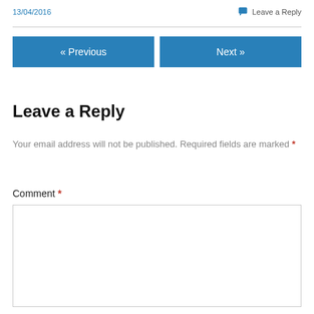13/04/2016
Leave a Reply
« Previous
Next »
Leave a Reply
Your email address will not be published. Required fields are marked *
Comment *